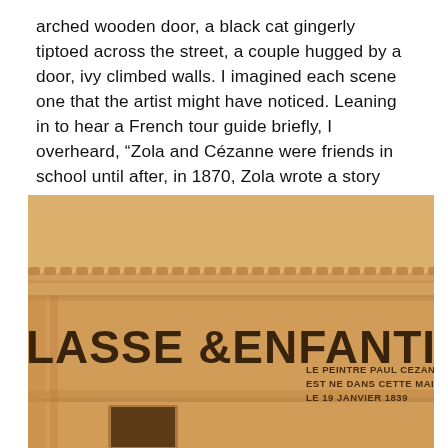arched wooden door, a black cat gingerly tiptoed across the street, a couple hugged by a door, ivy climbed walls. I imagined each scene one that the artist might have noticed. Leaning in to hear a French tour guide briefly, I overheard, “Zola and Cézanne were friends in school until after, in 1870, Zola wrote a story about a miserable painter and Cézanne recognized himself, so of course, they were no longer friends.”
[Figure (photo): Photograph of a building facade in warm sepia/golden tones showing architectural details. Large bold text 'LASSE ENFANTINE' carved or painted on the building. To the right, a plaque reads: 'LE PEINTRE PAUL CEZANNE EST NE DANS CETTE MAISON LE 19 JANVIER 1839'.]